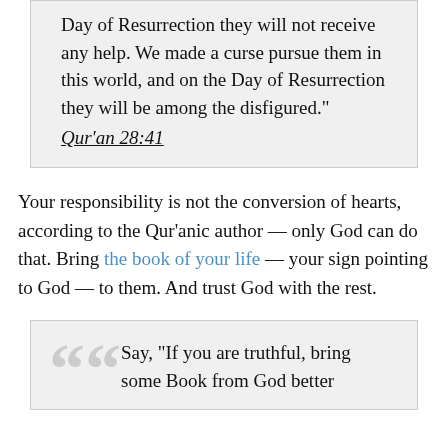Day of Resurrection they will not receive any help. We made a curse pursue them in this world, and on the Day of Resurrection they will be among the disfigured." Qur'an 28:41
Your responsibility is not the conversion of hearts, according to the Qur'anic author — only God can do that. Bring the book of your life — your sign pointing to God — to them. And trust God with the rest.
Say, "If you are truthful, bring some Book from God better